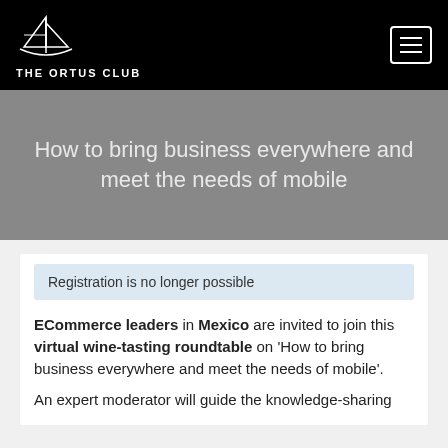THE ORTUS CLUB
How to bring business everywhere and meet the needs of mobile
Registration is no longer possible
ECommerce leaders in Mexico are invited to join this virtual wine-tasting roundtable on 'How to bring business everywhere and meet the needs of mobile'.
An expert moderator will guide the knowledge-sharing